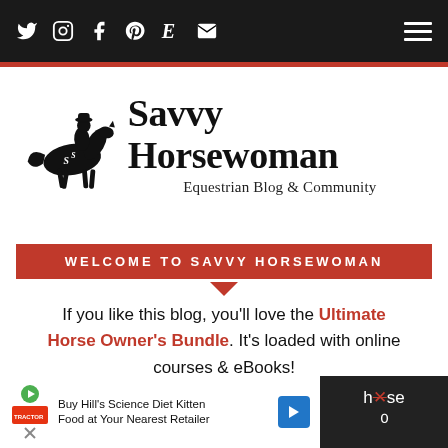Social icons nav bar with Twitter, Instagram, Facebook, Pinterest, Etsy, Email icons and hamburger menu
[Figure (logo): Savvy Horsewoman logo: silhouette of horse and rider with 'Savvy Horsewoman' title and 'Equestrian Blog & Community' subtitle]
WELCOME TO SAVVY HORSEWOMAN
If you like this blog, you'll love the Ultimate Horse Owner's Bundle. It's loaded with online courses & eBooks!
And if you haven't already, start your [FREE] 7
[Figure (screenshot): Advertisement: Buy Hill's Science Diet Kitten Food at Your Nearest Retailer]